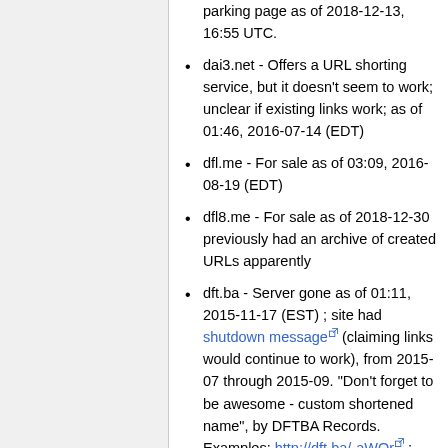parking page as of 2018-12-13, 16:55 UTC.
dai3.net - Offers a URL shorting service, but it doesn't seem to work; unclear if existing links work; as of 01:46, 2016-07-14 (EDT)
dfl.me - For sale as of 03:09, 2016-08-19 (EDT)
dfl8.me - For sale as of 2018-12-30 previously had an archive of created URLs apparently
dft.ba - Server gone as of 01:11, 2015-11-17 (EST) ; site had shutdown message (claiming links would continue to work), from 2015-07 through 2015-09. "Don't forget to be awesome - custom shortened name", by DFTBA Records. Examples: http://dft.ba/-aWOr ; http://dft.ba/-bitdo ; http://dft.ba/-